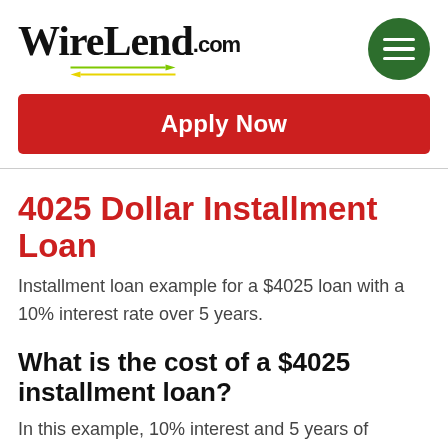[Figure (logo): WireLend.com logo with two overlapping arrows (green and yellow) beneath the text, and a dark green hamburger menu button circle on the right.]
[Figure (other): Red rounded rectangle button with white bold text 'Apply Now']
4025 Dollar Installment Loan
Installment loan example for a $4025 loan with a 10% interest rate over 5 years.
What is the cost of a $4025 installment loan?
In this example, 10% interest and 5 years of